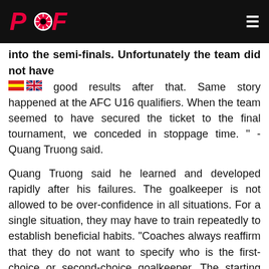PVF [logo] [hamburger menu]
into the semi-finals. Unfortunately the team did not have good results after that. Same story happened at the AFC U16 qualifiers. When the team seemed to have secured the ticket to the final tournament, we conceded in stoppage time. " - Quang Truong said.
Quang Truong said he learned and developed rapidly after his failures. The goalkeeper is not allowed to be over-confidence in all situations. For a single situation, they may have to train repeatedly to establish beneficial habits. "Coaches always reaffirm that they do not want to specify who is the first-choice or second-choice goalkeeper. The starting position is reserved for the best performing goalkeeper."
The goalkeeper of PVF U17, and currently Pho Hien U19, said he is trying every day to improve his reaction ability, ball handling and especially playing with his feet. The